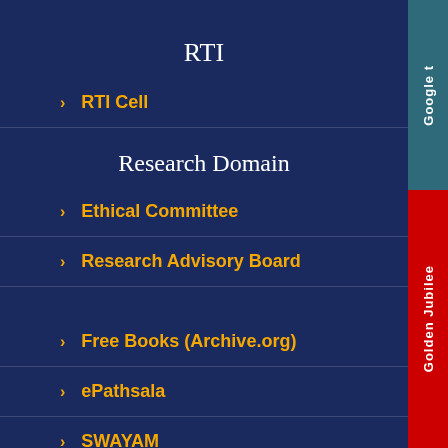RTI
RTI Cell
Research Domain
Ethical Committee
Research Advisory Board
Free Books (Archive.org)
ePathsala
SWAYAM
E-Lectures on NPTEL